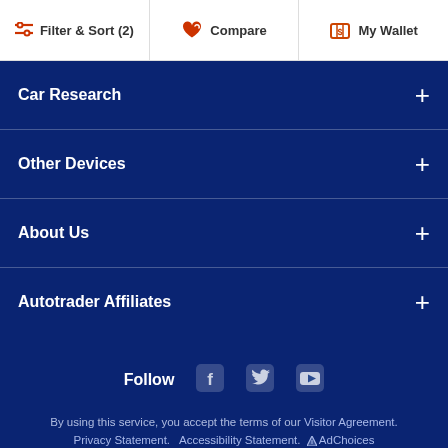Filter & Sort (2) | Compare | My Wallet
Car Research
Other Devices
About Us
Autotrader Affiliates
Follow
By using this service, you accept the terms of our Visitor Agreement. Privacy Statement. Accessibility Statement. AdChoices ©2022 Autotrader, Inc. All Rights Reserved. "Autotrader" is a registered trademark of TPI Holdings, Inc. used under exclusive license.